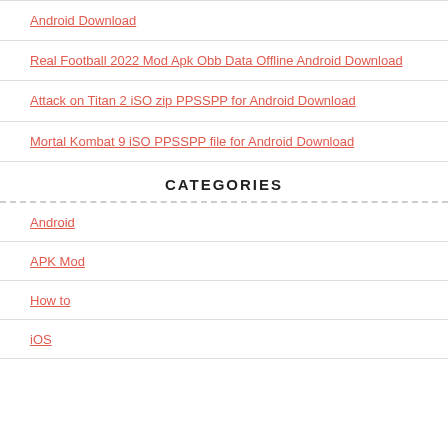Android Download
Real Football 2022 Mod Apk Obb Data Offline Android Download
Attack on Titan 2 iSO zip PPSSPP for Android Download
Mortal Kombat 9 iSO PPSSPP file for Android Download
CATEGORIES
Android
APK Mod
How to
iOS